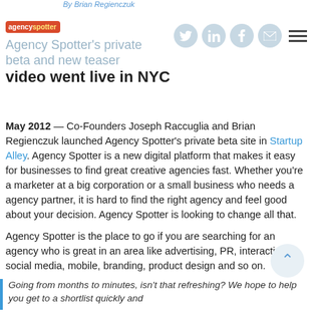By Brian Regienczuk
[Figure (logo): Agency Spotter logo — red rounded rectangle with white 'agency' and yellow 'spotter' text]
[Figure (infographic): Social sharing icons: Twitter, LinkedIn, Facebook, Email (light blue circles), and hamburger menu icon]
Agency Spotter's private beta and new teaser video went live in NYC
May 2012 — Co-Founders Joseph Raccuglia and Brian Regienczuk launched Agency Spotter's private beta site in Startup Alley. Agency Spotter is a new digital platform that makes it easy for businesses to find great creative agencies fast. Whether you're a marketer at a big corporation or a small business who needs a agency partner, it is hard to find the right agency and feel good about your decision. Agency Spotter is looking to change all that.
Agency Spotter is the place to go if you are searching for an agency who is great in an area like advertising, PR, interactive, social media, mobile, branding, product design and so on.
Going from months to minutes, isn't that refreshing? We hope to help you get to a shortlist quickly and